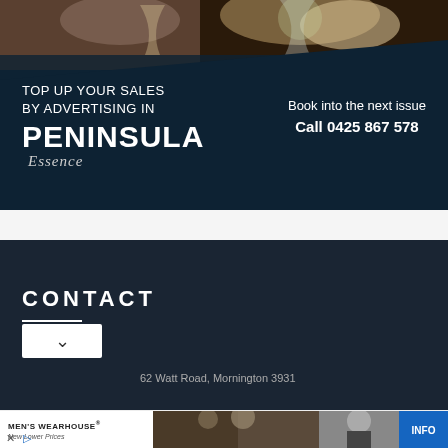[Figure (photo): Advertisement for Peninsula Essence magazine on dark navy background with wine glasses photo at top. Text reads: TOP UP YOUR SALES BY ADVERTISING IN PENINSULA Essence. Book into the next issue. Call 0425 867 578.]
[Figure (screenshot): Website section showing CONTACT heading on dark navy background with dropdown chevron button and partial address: 62 Watt Road, Mornington 3931]
[Figure (photo): Bottom banner advertisement for Men's Wearhouse showing couple in formal wear and man in tuxedo with INFO button]